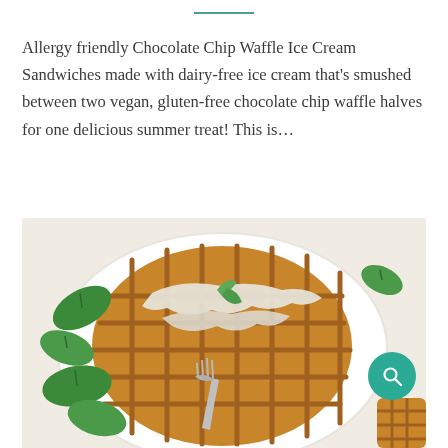Allergy friendly Chocolate Chip Waffle Ice Cream Sandwiches made with dairy-free ice cream that's smushed between two vegan, gluten-free chocolate chip waffle halves for one delicious summer treat! This is…
[Figure (photo): A golden-brown waffle on a white plate, topped with white cream sauce and fresh herbs/spinach leaves, with a fork resting on it. Fresh spinach leaves are arranged around the waffle. A teal search button icon is visible in the lower right.]